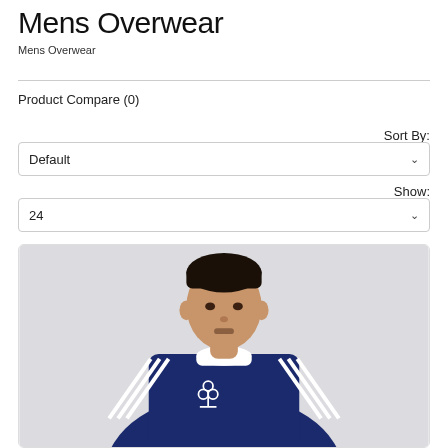Mens Overwear
Mens Overwear
Product Compare (0)
Sort By:
Default
Show:
24
[Figure (photo): A young man wearing a navy blue Adidas long-sleeve sweatshirt with white three stripes on the arms and Adidas trefoil logo on the chest, photographed against a light grey background.]